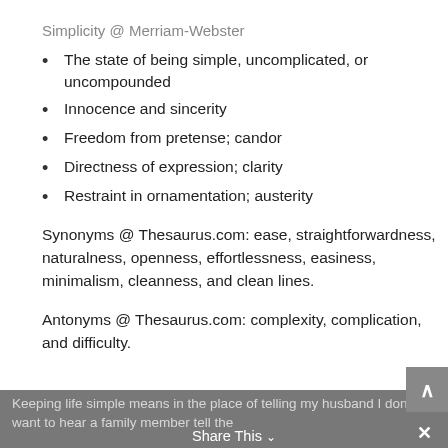Simplicity @ Merriam-Webster
The state of being simple, uncomplicated, or uncompounded
Innocence and sincerity
Freedom from pretense; candor
Directness of expression; clarity
Restraint in ornamentation; austerity
Synonyms @ Thesaurus.com: ease, straightforwardness, naturalness, openness, effortlessness, easiness, minimalism, cleanness, and clean lines.
Antonyms @ Thesaurus.com: complexity, complication, and difficulty.
Keeping life simple means in the place of telling my husband I dont want to hear a family member tell the